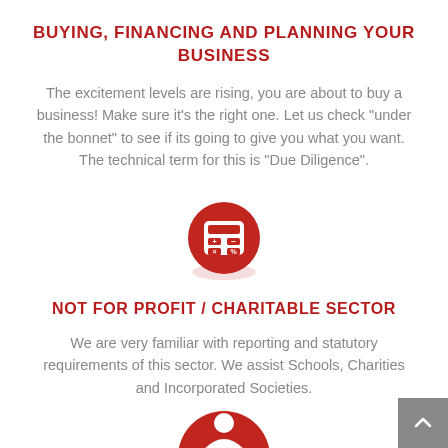BUYING, FINANCING AND PLANNING YOUR BUSINESS
The excitement levels are rising, you are about to buy a business! Make sure it’s the right one. Let us check “under the bonnet” to see if its going to give you what you want. The technical term for this is “Due Diligence”.
[Figure (illustration): Red circular icon with a white calculator symbol showing +, -, x, % keys]
NOT FOR PROFIT / CHARITABLE SECTOR
We are very familiar with reporting and statutory requirements of this sector. We assist Schools, Charities and Incorporated Societies.
[Figure (illustration): Partial red circular icon with a white person/figure silhouette visible at bottom of page]